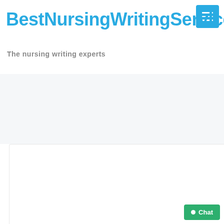BestNursingWritingService
The nursing writing experts
Networking Opportunities
My name is Joseph Mwangi; I am originally from Kenya. I immigrated to the United States one year after graduating high school and studying Computer